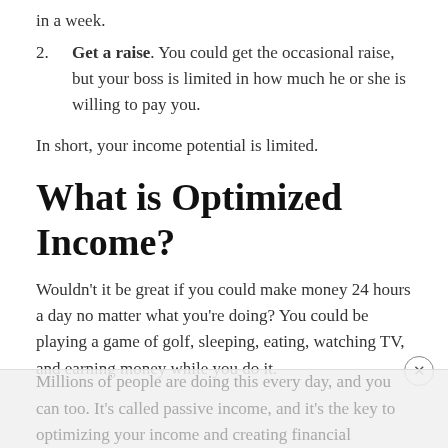in a week.
2.    Get a raise. You could get the occasional raise, but your boss is limited in how much he or she is willing to pay you.
In short, your income potential is limited.
What is Optimized Income?
Wouldn't it be great if you could make money 24 hours a day no matter what you're doing? You could be playing a game of golf, sleeping, eating, watching TV, and earning money while you do it.
Millions of people are doing this every day, and you can too. It's called passive income, and it's the key to optimizing your income and creating financial